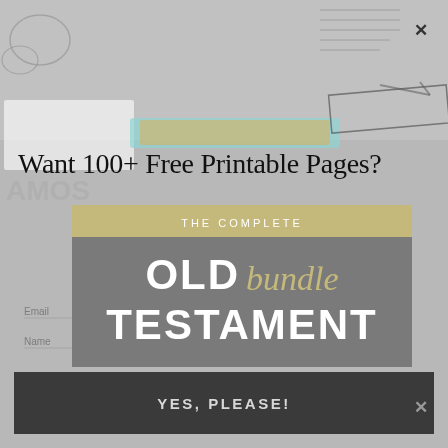[Figure (illustration): Background collage of hand-drawn Bible study notes, sketches, and worksheet pages in a light gray overlay. Includes words like CONSIDER HOW THE WILD, OLD TESTAMENT TIMELINES, BUCKET LIST, AMOS, HOSEA, OBADIAH, and various small illustrations.]
Want 100+ Free Printable Pages?
[Figure (illustration): Promotional bundle graphic with two-tone box: yellow-tan top bar reading 'THE COMPLETE' and dark gray main area with large white text 'OLD TESTAMENT' and gold cursive 'bundle' script overlaid.]
Opt in to receive news and updates.
YES, PLEASE!